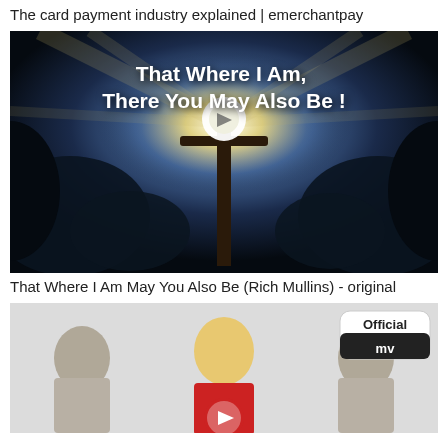The card payment industry explained | emerchantpay
[Figure (screenshot): Video thumbnail showing a dark dramatic sky with bright light rays behind a cross/street lamp silhouette. Bold white text reads: That Where I Am, There You May Also Be !]
That Where I Am May You Also Be (Rich Mullins) - original
[Figure (screenshot): Video thumbnail showing three people in white outfits and one person in red, with an Official MV badge in the top right corner and a play button overlay.]